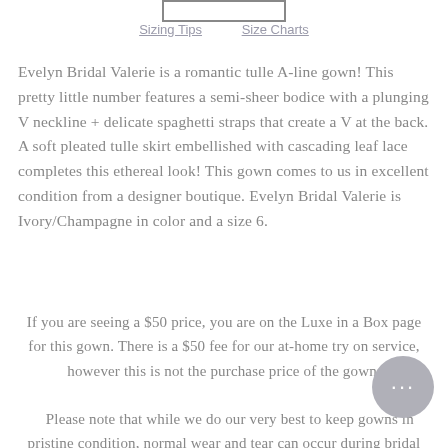[Figure (other): Small rectangular box outline at the top center of the page]
Sizing Tips    Size Charts
Evelyn Bridal Valerie is a romantic tulle A-line gown! This pretty little number features a semi-sheer bodice with a plunging V neckline + delicate spaghetti straps that create a V at the back. A soft pleated tulle skirt embellished with cascading leaf lace completes this ethereal look! This gown comes to us in excellent condition from a designer boutique. Evelyn Bridal Valerie is Ivory/Champagne in color and a size 6.
If you are seeing a $50 price, you are on the Luxe in a Box page for this gown. There is a $50 fee for our at-home try on service, however this is not the purchase price of the gown.
Please note that while we do our very best to keep gowns in pristine condition, normal wear and tear can occur during bridal appointments. If you are interested in this